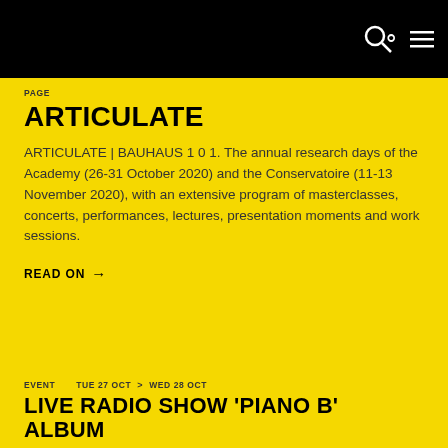PAGE
ARTICULATE
ARTICULATE | BAUHAUS 1 0 1. The annual research days of the Academy (26-31 October 2020) and the Conservatoire (11-13 November 2020), with an extensive program of masterclasses, concerts, performances, lectures, presentation moments and work sessions.
READ ON →
EVENT   TUE 27 OCT > WED 28 OCT
LIVE RADIO SHOW 'PIANO B' ALBUM